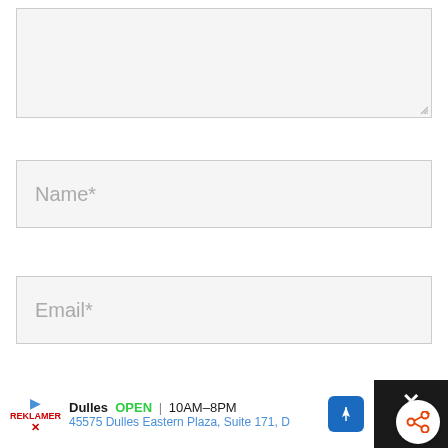[Figure (screenshot): Textarea input field with light gray background and resize handle in bottom right corner]
Name*
Email*
Website
[Figure (other): Share button - circular white button with orange share/add icon]
Dulles OPEN 10AM–8PM 45575 Dulles Eastern Plaza, Suite 171, D